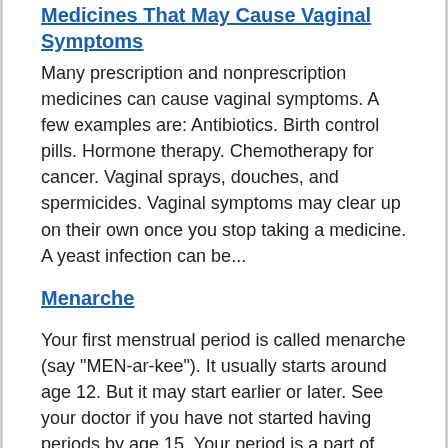Medicines That May Cause Vaginal Symptoms
Many prescription and nonprescription medicines can cause vaginal symptoms. A few examples are: Antibiotics. Birth control pills. Hormone therapy. Chemotherapy for cancer. Vaginal sprays, douches, and spermicides. Vaginal symptoms may clear up on their own once you stop taking a medicine. A yeast infection can be...
Menarche
Your first menstrual period is called menarche (say "MEN-ar-kee"). It usually starts around age 12. But it may start earlier or later. See your doctor if you have not started having periods by age 15. Your period is a part of your menstrual cycle. This cycle is a series of changes your body goes through to prepare for a...
Menopause and Your Risk for Other Health Concerns
Menopause is the point in a woman's life when she has not had her period for 1 year. Menopause is a